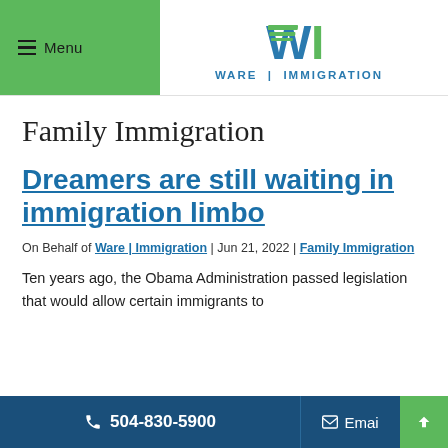Menu | Ware Immigration
Family Immigration
Dreamers are still waiting in immigration limbo
On Behalf of Ware | Immigration | Jun 21, 2022 | Family Immigration
Ten years ago, the Obama Administration passed legislation that would allow certain immigrants to
504-830-5900  Email